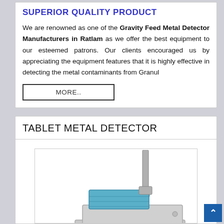SUPERIOR QUALITY PRODUCT
We are renowned as one of the Gravity Feed Metal Detector Manufacturers in Ratlam as we offer the best equipment to our esteemed patrons. Our clients encouraged us by appreciating the equipment features that it is highly effective in detecting the metal contaminants from Granul
MORE..
TABLET METAL DETECTOR
[Figure (photo): Photograph of a tablet metal detector device, showing a silver/grey and blue coloured instrument with a vertical antenna/probe and stepped body, viewed from an angle.]